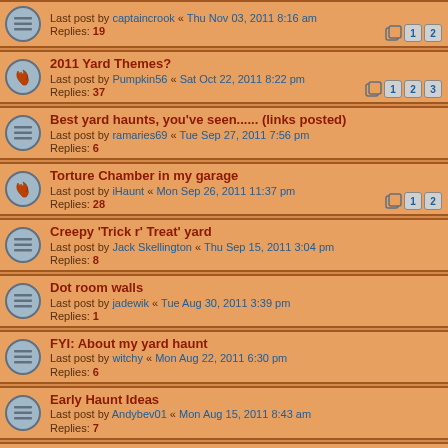Last post by captaincrook « Thu Nov 03, 2011 8:16 am
Replies: 19
2011 Yard Themes?
Last post by Pumpkin56 « Sat Oct 22, 2011 8:22 pm
Replies: 37
Best yard haunts, you've seen...... (links posted)
Last post by ramaries69 « Tue Sep 27, 2011 7:56 pm
Replies: 6
Torture Chamber in my garage
Last post by iHaunt « Mon Sep 26, 2011 11:37 pm
Replies: 28
Creepy 'Trick r' Treat' yard
Last post by Jack Skellington « Thu Sep 15, 2011 3:04 pm
Replies: 8
Dot room walls
Last post by jadewik « Tue Aug 30, 2011 3:39 pm
Replies: 1
FYI: About my yard haunt
Last post by witchy « Mon Aug 22, 2011 6:30 pm
Replies: 6
Early Haunt Ideas
Last post by Andybev01 « Mon Aug 15, 2011 8:43 am
Replies: 7
So...we're working on our Renaissance Castle..
Last post by iHaunt « Wed Aug 10, 2011 11:30 pm
Replies: 34